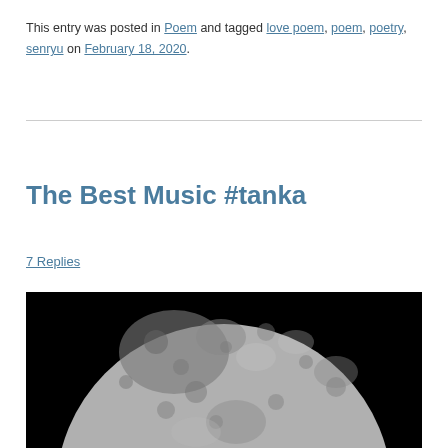This entry was posted in Poem and tagged love poem, poem, poetry, senryu on February 18, 2020.
The Best Music #tanka
7 Replies
[Figure (photo): Close-up photograph of a full moon against a black sky, showing detailed craters and surface texture in gray tones.]